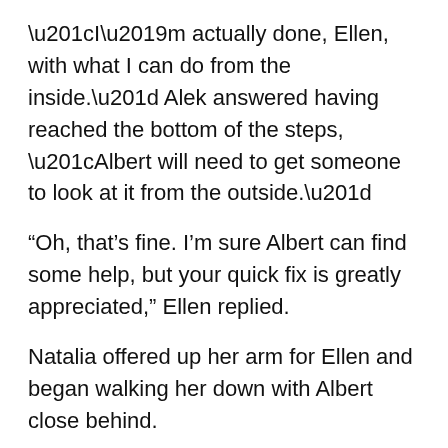“I’m actually done, Ellen, with what I can do from the inside.” Alek answered having reached the bottom of the steps, “Albert will need to get someone to look at it from the outside.”
“Oh, that’s fine. I’m sure Albert can find some help, but your quick fix is greatly appreciated,” Ellen replied.
Natalia offered up her arm for Ellen and began walking her down with Albert close behind.
“Of course, it is the least I can do for your incredible hospitality,” he said.
“You flatter me, Alek, but don’t feel like you have a responsibility to help us, nor you Natalia.” Ellen came to the bottom of the steps and walked towards the plush couch to sit on. “Albert and I enjoy the company it keeps